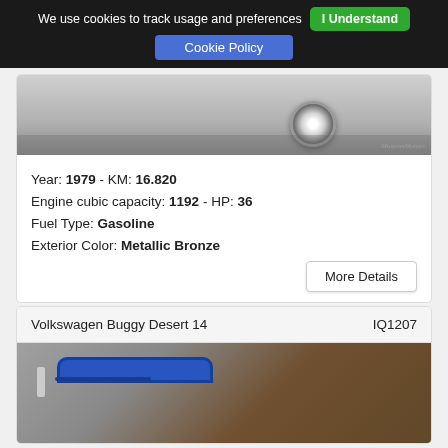We use cookies to track usage and preferences  I Understand
Cookie Policy
[Figure (photo): Bottom portion of a classic car showing wheel and undercarriage on grey background, with watermark text in bottom right corner]
Year: 1979 - KM: 16.820
Engine cubic capacity: 1192 - HP: 36
Fuel Type: Gasoline
Exterior Color: Metallic Bronze
More Details
Volkswagen Buggy Desert 14                    IQ1207
[Figure (photo): Partially visible Volkswagen Buggy Desert 14 with a blue roll bar visible against a background showing what appears to be a showroom or garage]